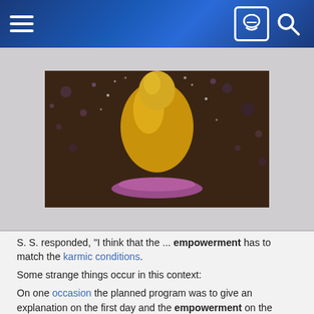Navigation bar with hamburger menu, face icon, and search icon
[Figure (photo): A golden Buddha statue on a lotus base with a dark ornate background with sparkles/bokeh effects]
S. S. responded, "I think that the ... empowerment has to match the karmic conditions.
Some strange things occur in this context:
On one occasion the planned program was to give an explanation on the first day and the empowerment on the second.
I did not particularly want the empowerment, but I was curious to find out about the practice, and so I went on the first day.
To everybody's surprise the empowerment was given on the first day.
This meant that people who were not serious enough to come to listen to the explanation missed the empowerment.